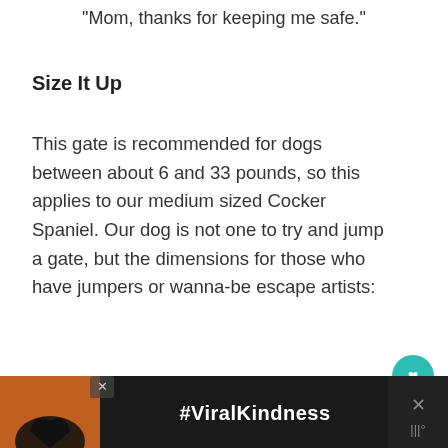“Mom, thanks for keeping me safe.”
Size It Up
This gate is recommended for dogs between about 6 and 33 pounds, so this applies to our medium sized Cocker Spaniel. Our dog is not one to try and jump a gate, but the dimensions for those who have jumpers or wanna-be escape artists:
[Figure (other): Social media like/heart button (teal circle with heart icon) and share button with count of 1]
[Figure (other): Advertisement banner at bottom: dark background with silhouette of hands forming heart shape, #ViralKindness text, close button and weather widget]